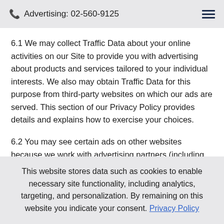Advertising: 02-560-9125
6.1 We may collect Traffic Data about your online activities on our Site to provide you with advertising about products and services tailored to your individual interests. We also may obtain Traffic Data for this purpose from third-party websites on which our ads are served. This section of our Privacy Policy provides details and explains how to exercise your choices.
6.2 You may see certain ads on other websites because we work with advertising partners (including advertising networks) to engage in remarketing and retargeting
This website stores data such as cookies to enable necessary site functionality, including analytics, targeting, and personalization. By remaining on this website you indicate your consent. Privacy Policy